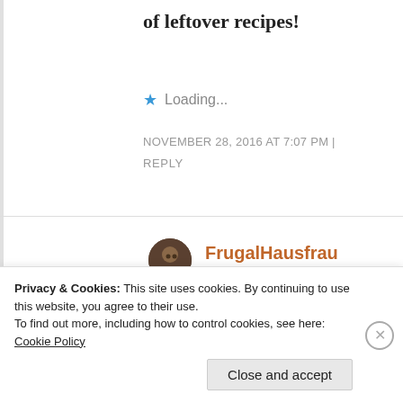of leftover recipes!
Loading...
NOVEMBER 28, 2016 AT 7:07 PM | REPLY
FrugalHausfrau
Thanks, Hilda! 🙂
Privacy & Cookies: This site uses cookies. By continuing to use this website, you agree to their use. To find out more, including how to control cookies, see here: Cookie Policy
Close and accept